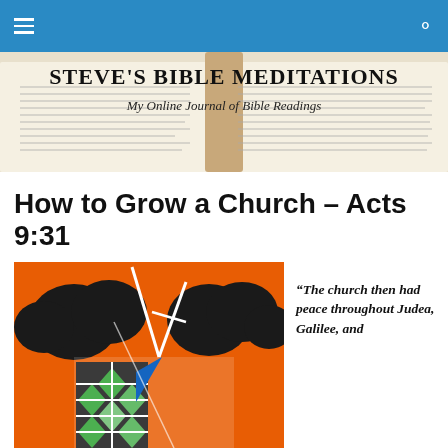Navigation bar with menu and search icons
[Figure (illustration): Steve's Bible Meditations banner with open Bible background, title 'STEVE'S BIBLE MEDITATIONS' and subtitle 'My Online Journal of Bible Readings']
How to Grow a Church – Acts 9:31
[Figure (illustration): Colorful cartoon-style illustration of a church building with stained glass windows, cross spire, and clouds on orange background]
“The church then had peace throughout Judea, Galilee, and